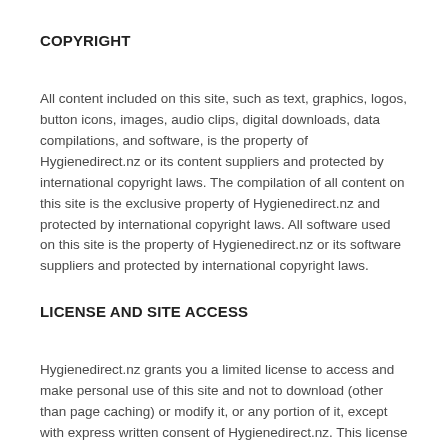COPYRIGHT
All content included on this site, such as text, graphics, logos, button icons, images, audio clips, digital downloads, data compilations, and software, is the property of Hygienedirect.nz or its content suppliers and protected by international copyright laws. The compilation of all content on this site is the exclusive property of Hygienedirect.nz and protected by international copyright laws. All software used on this site is the property of Hygienedirect.nz or its software suppliers and protected by international copyright laws.
LICENSE AND SITE ACCESS
Hygienedirect.nz grants you a limited license to access and make personal use of this site and not to download (other than page caching) or modify it, or any portion of it, except with express written consent of Hygienedirect.nz. This license does not include any resale or commercial use of this site or its contents; any collection and use of any product listings, descriptions, or prices; any derivative use of this site or its contents; any downloading or copying of account information for the benefit of another